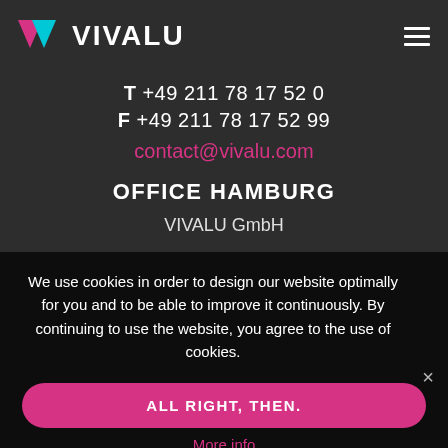[Figure (logo): VIVALU logo with pink and blue triangle/chevron icon and white text VIVALU]
T +49 211 78 17 52 0
F +49 211 78 17 52 99
contact@vivalu.com
OFFICE HAMBURG
VIVALU GmbH
We use cookies in order to design our website optimally for you and to be able to improve it continuously. By continuing to use the website, you agree to the use of cookies.
ALL RIGHT, THEN.
More info